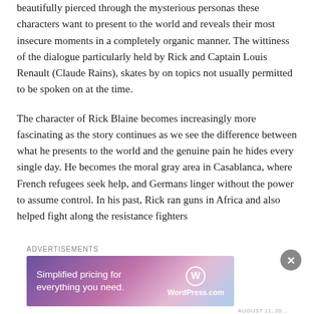beautifully pierced through the mysterious personas these characters want to present to the world and reveals their most insecure moments in a completely organic manner. The wittiness of the dialogue particularly held by Rick and Captain Louis Renault (Claude Rains), skates by on topics not usually permitted to be spoken on at the time.
The character of Rick Blaine becomes increasingly more fascinating as the story continues as we see the difference between what he presents to the world and the genuine pain he hides every single day. He becomes the moral gray area in Casablanca, where French refugees seek help, and Germans linger without the power to assume control. In his past, Rick ran guns in Africa and also helped fight along the resistance fighters
Advertisements
[Figure (infographic): WordPress.com advertisement banner with gradient purple-pink background. Text reads 'Simplified pricing for everything you need.' with WordPress.com logo on the right.]